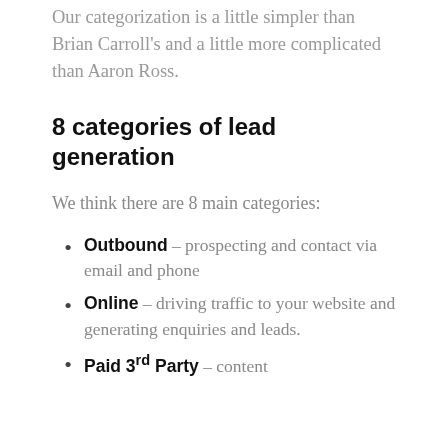Our categorization is a little simpler than Brian Carroll's and a little more complicated than Aaron Ross.
8 categories of lead generation
We think there are 8 main categories:
Outbound – prospecting and contact via email and phone
Online – driving traffic to your website and generating enquiries and leads.
Paid 3rd Party – content